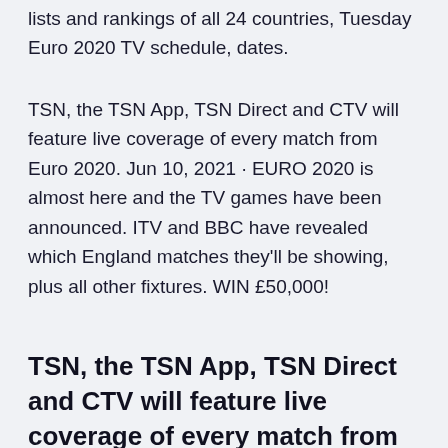lists and rankings of all 24 countries, Tuesday Euro 2020 TV schedule, dates.
TSN, the TSN App, TSN Direct and CTV will feature live coverage of every match from Euro 2020. Jun 10, 2021 · EURO 2020 is almost here and the TV games have been announced. ITV and BBC have revealed which England matches they'll be showing, plus all other fixtures. WIN £50,000!
TSN, the TSN App, TSN Direct and CTV will feature live coverage of every match from Euro 2020. Channel designations TBA. Saturday, June 12 Wales vs. Switzerland 9:00 am TSN1/2/CTV